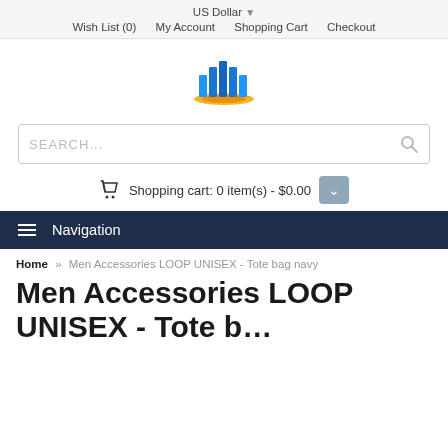US Dollar
Wish List (0)   My Account   Shopping Cart   Checkout
[Figure (logo): Bar chart logo icon with blue bars and orange/yellow arc base]
SEARCH...
Shopping cart: 0 item(s) - $0.00
Navigation
Home » Men Accessories LOOP UNISEX - Tote bag navy
Men Accessories LOOP UNISEX - Tote bag